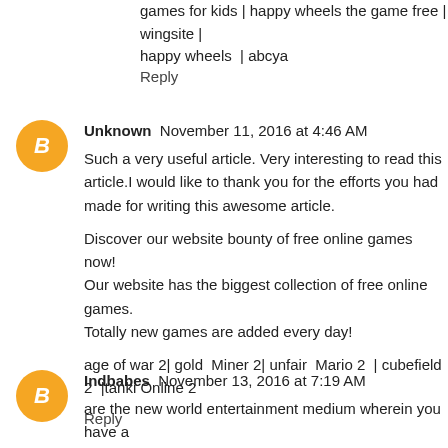games for kids | happy wheels the game free | wingsite | happy wheels | abcya
Reply
Unknown  November 11, 2016 at 4:46 AM
Such a very useful article. Very interesting to read this article.I would like to thank you for the efforts you had made for writing this awesome article.

Discover our website bounty of free online games now!
Our website has the biggest collection of free online games.
Totally new games are added every day!

age of war 2| gold  Miner 2| unfair  Mario 2  | cubefield 2  |tanki Online 2
Reply
Indbabes  November 13, 2016 at 7:19 AM
are the new world entertainment medium wherein you have a